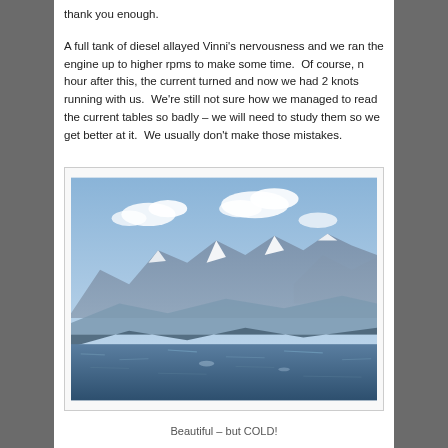thank you enough.
A full tank of diesel allayed Vinni's nervousness and we ran the engine up to higher rpms to make some time.  Of course, n hour after this, the current turned and now we had 2 knots running with us.  We're still not sure how we managed to read the current tables so badly – we will need to study them so we get better at it.  We usually don't make those mistakes.
[Figure (photo): A scenic photograph of snow-capped mountains with blue hazy ridgelines in the background and dark choppy water in the foreground under a blue sky with scattered white clouds.]
Beautiful – but COLD!